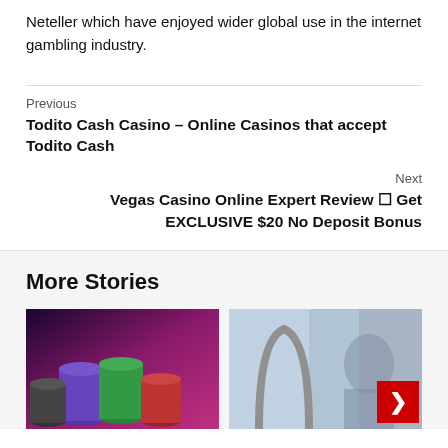Neteller which have enjoyed wider global use in the internet gambling industry.
Previous
Todito Cash Casino – Online Casinos that accept Todito Cash
Next
Vegas Casino Online Expert Review ❒ Get EXCLUSIVE $20 No Deposit Bonus
More Stories
[Figure (photo): Stacked casino chips (purple, green, red, black) on a dark surface with purple/pink lighting]
[Figure (photo): Partial image with person and red badge with icon, grey/blue tones]